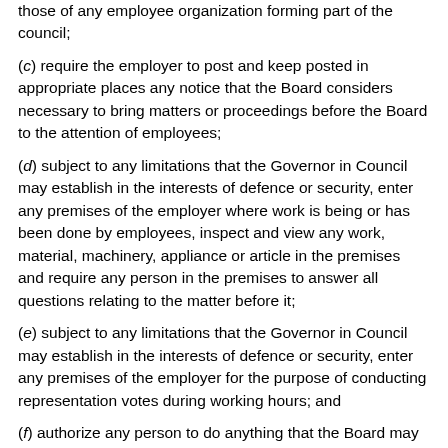those of any employee organization forming part of the council;
(c) require the employer to post and keep posted in appropriate places any notice that the Board considers necessary to bring matters or proceedings before the Board to the attention of employees;
(d) subject to any limitations that the Governor in Council may establish in the interests of defence or security, enter any premises of the employer where work is being or has been done by employees, inspect and view any work, material, machinery, appliance or article in the premises and require any person in the premises to answer all questions relating to the matter before it;
(e) subject to any limitations that the Governor in Council may establish in the interests of defence or security, enter any premises of the employer for the purpose of conducting representation votes during working hours; and
(f) authorize any person to do anything that the Board may do under paragraphs (a) to (e) and require the person to report to it on what the person has done.
368. Paragraphs 39(i) to (m) of the Act are replaced by